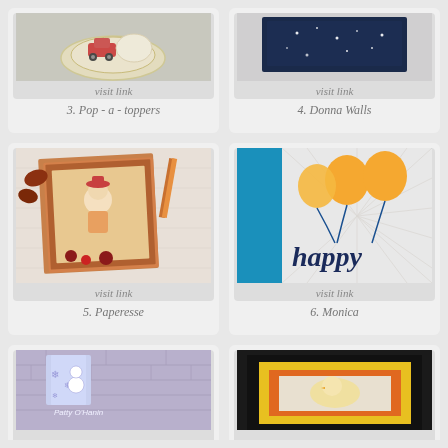[Figure (photo): Decorated cookies with red car on plate - card item 3]
3. Pop - a - toppers
[Figure (photo): Dark blue starry sky card - card item 4]
4. Donna Walls
[Figure (photo): Handmade craft card with girl character and autumn decorations - card item 5]
5. Paperesse
[Figure (photo): Happy birthday card with orange balloons on teal background - card item 6]
6. Monica
[Figure (photo): Blue snowman gift box craft - card item 7 (partial)]
[Figure (photo): Framed photo card with yellow and orange borders - card item 8 (partial)]